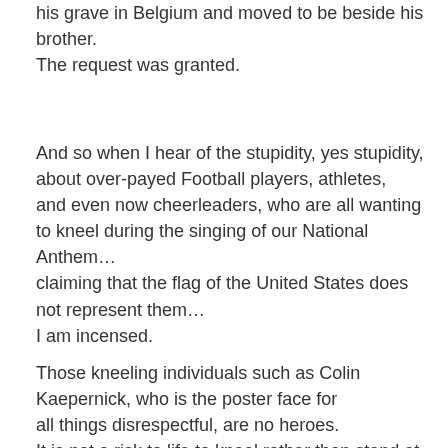his grave in Belgium and moved to be beside his brother. The request was granted.
And so when I hear of the stupidity, yes stupidity, about over-payed Football players, athletes, and even now cheerleaders, who are all wanting to kneel during the singing of our National Anthem… claiming that the flag of the United States does not represent them… I am incensed.
Those kneeling individuals such as Colin Kaepernick, who is the poster face for all things disrespectful, are no heroes. It is not a risk to life to kneel rather than stand at the start of a ballgame.